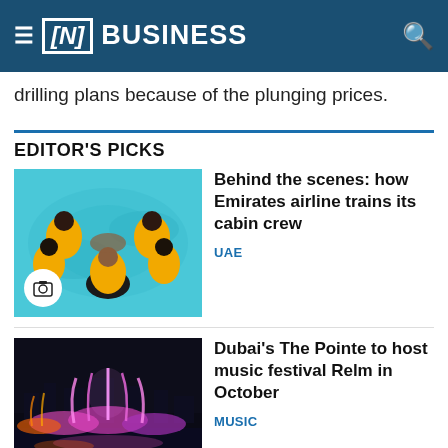[N] BUSINESS
drilling plans because of the plunging prices.
EDITOR'S PICKS
[Figure (photo): People in yellow life vests floating in a pool forming a circular group, viewed from above]
Behind the scenes: how Emirates airline trains its cabin crew
UAE
[Figure (photo): Colorful lights and fountain show at night at The Pointe Dubai]
Dubai's The Pointe to host music festival Relm in October
MUSIC